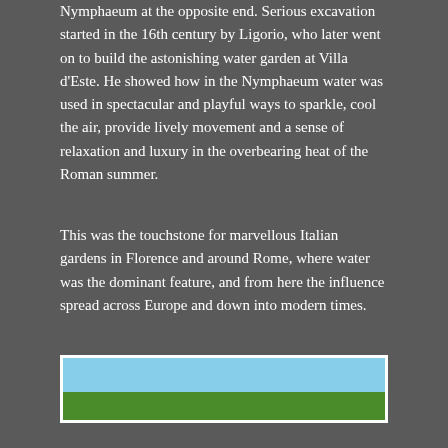Nymphaeum at the opposite end. Serious excavation started in the 16th century by Ligorio, who later went on to build the astonishing water garden at Villa d'Este. He showed how in the Nymphaeum water was used in spectacular and playful ways to sparkle, cool the air, provide lively movement and a sense of relaxation and luxury in the overbearing heat of the Roman summer.
This was the touchstone for marvellous Italian gardens in Florence and around Rome, where water was the dominant feature, and from here the influence spread across Europe and down into modern times.
[Figure (photo): Partial view of a garden photograph showing blue sky in the upper portion and green vegetation in the lower portion, with a white border frame.]